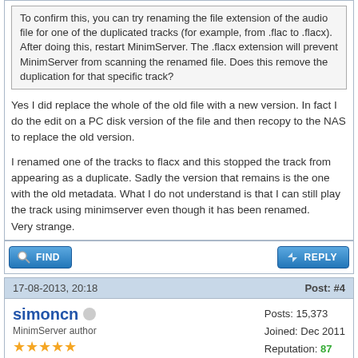To confirm this, you can try renaming the file extension of the audio file for one of the duplicated tracks (for example, from .flac to .flacx). After doing this, restart MinimServer. The .flacx extension will prevent MinimServer from scanning the renamed file. Does this remove the duplication for that specific track?
Yes I did replace the whole of the old file with a new version. In fact I do the edit on a PC disk version of the file and then recopy to the NAS to replace the old version.
I renamed one of the tracks to flacx and this stopped the track from appearing as a duplicate. Sadly the version that remains is the one with the old metadata. What I do not understand is that I can still play the track using minimserver even though it has been renamed.
Very strange.
17-08-2013, 20:18
Post: #4
simoncn
MinimServer author
Posts: 15,373
Joined: Dec 2011
Reputation: 87
RE: Duplicate tracks after editing metadata